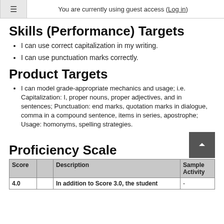≡   You are currently using guest access (Log in)
Skills (Performance) Targets
I can use correct capitalization in my writing.
I can use punctuation marks correctly.
Product Targets
I can model grade-appropriate mechanics and usage; i.e. Capitalization: I, proper nouns, proper adjectives, and in sentences; Punctuation: end marks, quotation marks in dialogue, comma in a compound sentence, items in series, apostrophe; Usage: homonyms, spelling strategies.
Proficiency Scale
| Score |  | Description | Sample Activity |
| --- | --- | --- | --- |
| 4.0 |  | In addition to Score 3.0, the student | - |